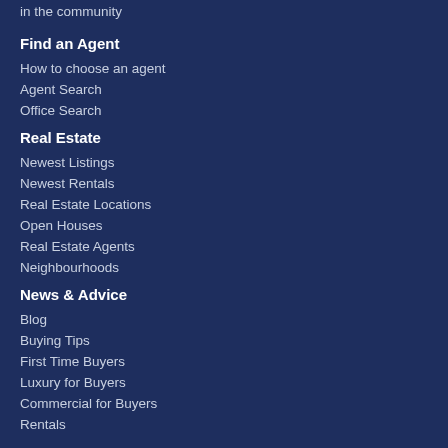in the community
Find an Agent
How to choose an agent
Agent Search
Office Search
Real Estate
Newest Listings
Newest Rentals
Real Estate Locations
Open Houses
Real Estate Agents
Neighbourhoods
News & Advice
Blog
Buying Tips
First Time Buyers
Luxury for Buyers
Commercial for Buyers
Rentals
Selling Tips